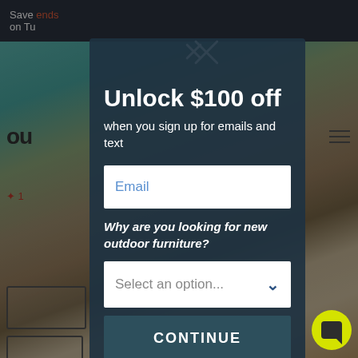[Figure (screenshot): Background website with outdoor furniture photo, dark top navigation bar, and partial UI elements on left side]
Unlock $100 off
when you sign up for emails and text
Email
Why are you looking for new outdoor furniture?
Select an option...
CONTINUE